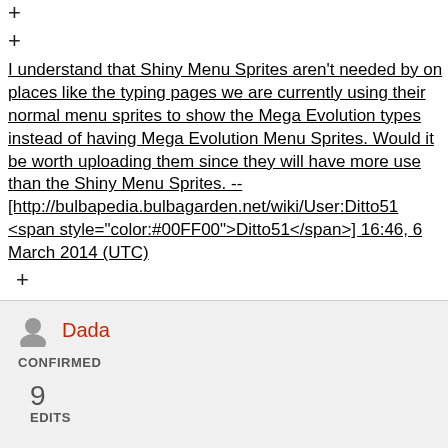+
+
I understand that Shiny Menu Sprites aren't needed by on places like the typing pages we are currently using their normal menu sprites to show the Mega Evolution types instead of having Mega Evolution Menu Sprites. Would it be worth uploading them since they will have more use than the Shiny Menu Sprites. -- [http://bulbapedia.bulbagarden.net/wiki/User:Ditto51 <span style="color:#00FF00">Ditto51</span>] 16:46, 6 March 2014 (UTC)
+
:I assume it would be hard, due to the fact that the sprite will always be obscured by a held item icon.
Dada
CONFIRMED
9
EDITS